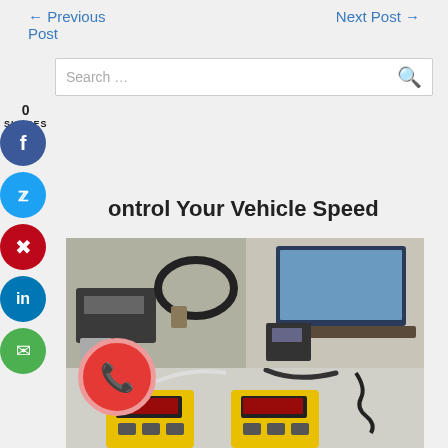← Previous Post    Next Post →
Search …
0
SHARES
ontrol Your Vehicle Speed
[Figure (photo): Vehicle speed control device kit with cables, sensors, black box, and laptop computer setup, plus yellow handheld speed device units]
[Figure (other): Social media share buttons: Facebook, Twitter, Pinterest, LinkedIn, Email, and phone call button]